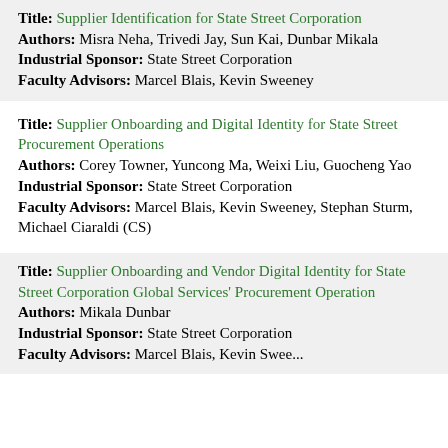Title: Supplier Identification for State Street Corporation | Authors: Misra Neha, Trivedi Jay, Sun Kai, Dunbar Mikala | Industrial Sponsor: State Street Corporation | Faculty Advisors: Marcel Blais, Kevin Sweeney
Title: Supplier Onboarding and Digital Identity for State Street Procurement Operations | Authors: Corey Towner, Yuncong Ma, Weixi Liu, Guocheng Yao | Industrial Sponsor: State Street Corporation | Faculty Advisors: Marcel Blais, Kevin Sweeney, Stephan Sturm, Michael Ciaraldi (CS)
Title: Supplier Onboarding and Vendor Digital Identity for State Street Corporation Global Services' Procurement Operation | Authors: Mikala Dunbar | Industrial Sponsor: State Street Corporation | Faculty Advisors: Marcel Blais, Kevin Sweeney...